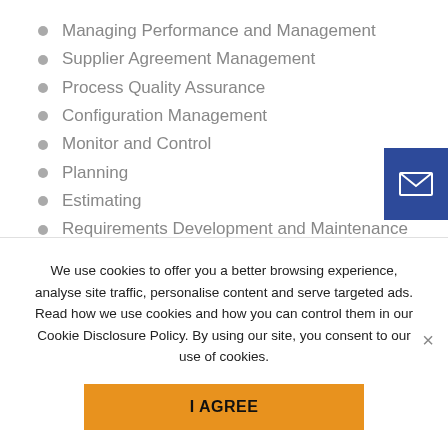Managing Performance and Management
Supplier Agreement Management
Process Quality Assurance
Configuration Management
Monitor and Control
Planning
Estimating
Requirements Development and Maintenance
Governance
We use cookies to offer you a better browsing experience, analyse site traffic, personalise content and serve targeted ads. Read how we use cookies and how you can control them in our Cookie Disclosure Policy. By using our site, you consent to our use of cookies.
I AGREE